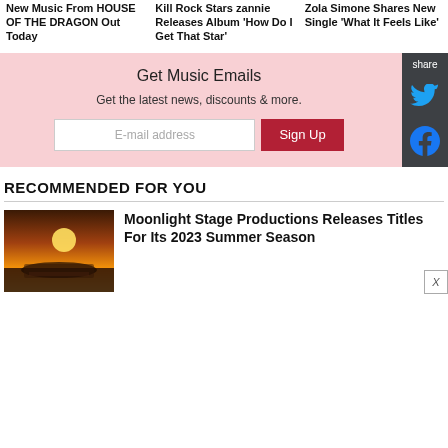New Music From HOUSE OF THE DRAGON Out Today
Kill Rock Stars zannie Releases Album 'How Do I Get That Star'
Zola Simone Shares New Single 'What It Feels Like'
Get Music Emails
Get the latest news, discounts & more.
RECOMMENDED FOR YOU
[Figure (photo): Aerial sunset view of an outdoor amphitheater with crowd and warm golden sky]
Moonlight Stage Productions Releases Titles For Its 2023 Summer Season